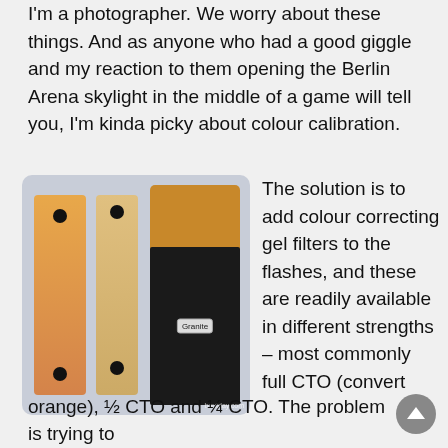I'm a photographer. We worry about these things. And as anyone who had a good giggle and my reaction to them opening the Berlin Arena skylight in the middle of a game will tell you, I'm kinda picky about colour calibration.
[Figure (photo): Photo showing two orange/amber gel filter strips with black mounting dots, next to a black Granite brand camera flash unit with an orange gel filter on the flash head. Watermark reads 'boutday.com'.]
The solution is to add colour correcting gel filters to the flashes, and these are readily available in different strengths – most commonly full CTO (convert orange), ½ CTO and ¼ CTO. The problem is trying to